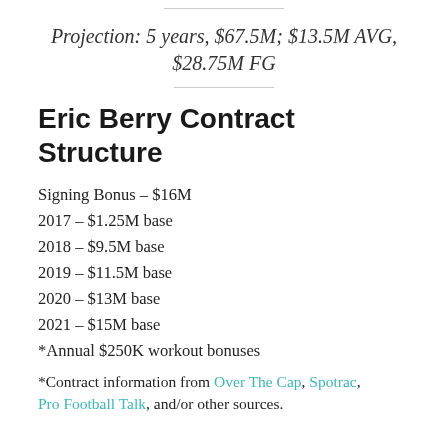Projection: 5 years, $67.5M; $13.5M AVG, $28.75M FG
Eric Berry Contract Structure
Signing Bonus – $16M
2017 – $1.25M base
2018 – $9.5M base
2019 – $11.5M base
2020 – $13M base
2021 – $15M base
*Annual $250K workout bonuses
*Contract information from Over The Cap, Spotrac, Pro Football Talk, and/or other sources.